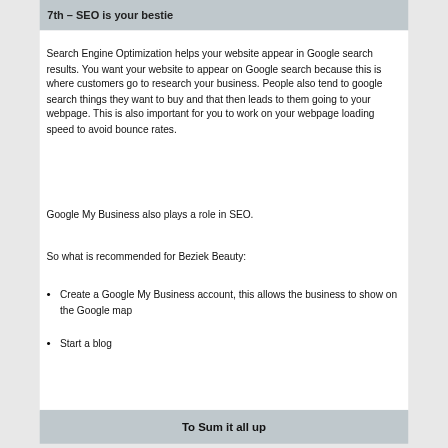7th – SEO is your bestie
Search Engine Optimization helps your website appear in Google search results. You want your website to appear on Google search because this is where customers go to research your business. People also tend to google search things they want to buy and that then leads to them going to your webpage. This is also important for you to work on your webpage loading speed to avoid bounce rates.
Google My Business also plays a role in SEO.
So what is recommended for Beziek Beauty:
Create a Google My Business account, this allows the business to show on the Google map
Start a blog
To Sum it all up